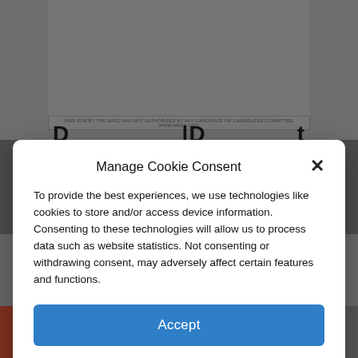[Figure (screenshot): Background webpage with voting-related image at top showing 'Support the Swing VOTERS' text and 'PAID FOR BY THE NRCC AND NOT AUTHORIZED BY ANY CANDIDATE OR CANDIDATES COMMITTEE WWW.NRCC.ORG' disclaimer, partially visible heading text, and two portrait photos below.]
Manage Cookie Consent
To provide the best experiences, we use technologies like cookies to store and/or access device information. Consenting to these technologies will allow us to process data such as website statistics. Not consenting or withdrawing consent, may adversely affect certain features and functions.
Accept
Cookie Policy   Privacy Policy
[Figure (screenshot): Social sharing bar at bottom with five buttons: orange plus/add button, Facebook (dark blue), Twitter (light blue), share/link (medium blue), and email/mail (grey).]